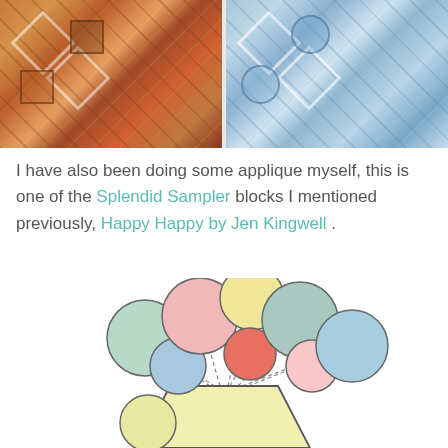[Figure (photo): Two quilt block photos side by side showing colorful patchwork fabric patterns with geometric designs]
I have also been doing some applique myself, this is one of the Splendid Sampler blocks I mentioned previously, Happy Happy by Jen Kingwell .
[Figure (illustration): Applique pattern illustration showing a vase with colorful circular flower shapes on dashed stems — circles in pink, yellow, mint green, blue, coral/red, light pink, teal — vase is light yellow trapezoid shape]